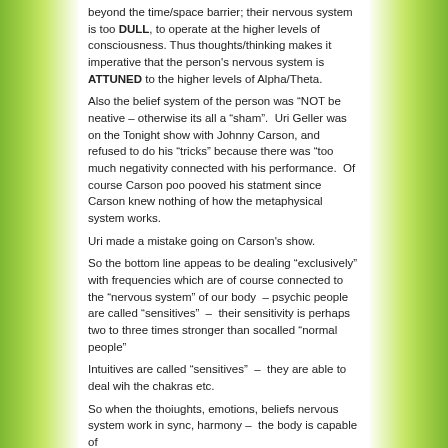beyond the time/space barrier; their nervous system is too DULL, to operate at the higher levels of consciousness. Thus thoughts/thinking makes it imperative that the person's nervous system is ATTUNED to the higher levels of Alpha/Theta.
Also the belief system of the person was “NOT be neative – otherwise its all a “sham”.  Uri Geller was on the Tonight show with Johnny Carson, and refused to do his “tricks” because there was “too much negativity connected with his performance.  Of course Carson poo pooved his statment since Carson knew nothing of how the metaphysical system works.
Uri made a mistake going on Carson's show.
So the bottom line appeas to be dealing “exclusively” with frequencies which are of course connected to the “nervous system” of our body  – psychic people are called “sensitives”  –  their sensitivity is perhaps two to three times stronger than socalled “normal people”
Intuitives are called “sensitives”  –  they are able to deal wih the chakras etc.
So when the thoiughts, emotions, beliefs nervous system work in sync, harmony –  the body is capable of